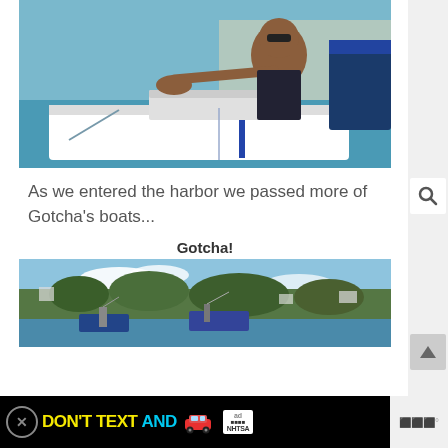[Figure (photo): Woman wearing sunglasses sitting on a boat near a harbor with blue water and boats in background]
As we entered the harbor we passed more of Gotcha's boats...
Gotcha!
[Figure (photo): Harbor scene with boats moored near a tree-covered hillside with buildings]
[Figure (other): Advertisement banner: DON'T TEXT AND [car emoji] ad with NHTSA logo and close button]